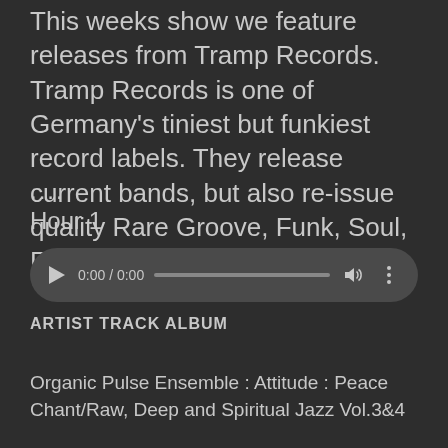This weeks show we feature releases from Tramp Records. Tramp Records is one of Germany's tiniest but funkiest record labels. They release current bands, but also re-issue quality Rare Groove, Funk, Soul, Folk, Afrobeat, and Jazz.
....
Hour 1
[Figure (other): Audio player widget with play button, time display 0:00 / 0:00, progress bar, volume icon, and more options icon]
ARTIST TRACK ALBUM
Organic Pulse Ensemble : Attitude : Peace Chant/Raw, Deep and Spiritual Jazz Vol.3&4